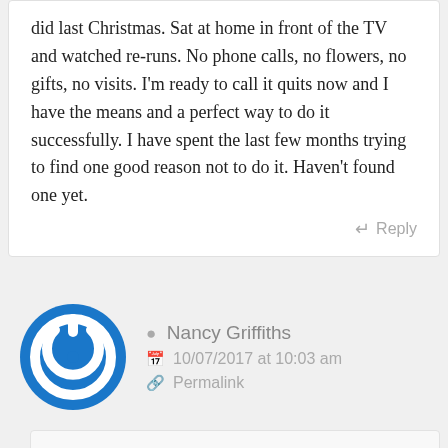did last Christmas. Sat at home in front of the TV and watched re-runs. No phone calls, no flowers, no gifts, no visits. I'm ready to call it quits now and I have the means and a perfect way to do it successfully. I have spent the last few months trying to find one good reason not to do it. Haven't found one yet.
Reply
Nancy Griffiths
10/07/2017 at 10:03 am
Permalink
Because there so many people that need you because you so much more of a person that you realize—which i know it difficult to believe when you are depressed.
I came very close to your way of feeling and